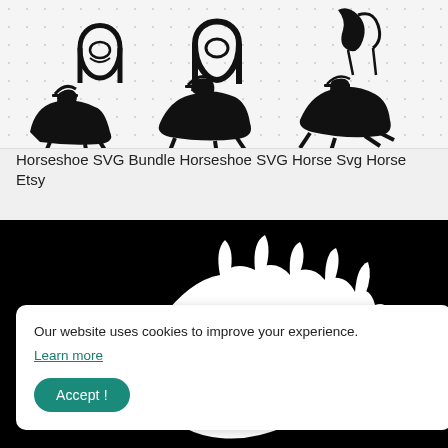[Figure (illustration): Collection of black silhouette illustrations: horseshoe designs at top, three cowboys on horseback in the middle row on a white/light gray grid background.]
Horseshoe SVG Bundle Horseshoe SVG Horse Svg Horse Etsy
[Figure (illustration): Black background image with a white silhouette of a horse head showing flowing mane with spiky details, partially visible.]
Our website uses cookies to improve your experience. Learn more
Accept !